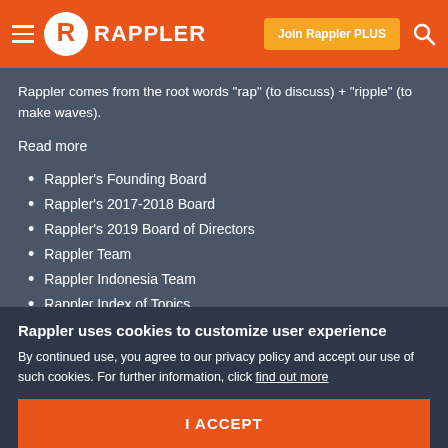RAPPLER
Rappler comes from the root words "rap" (to discuss) + "ripple" (to make waves).
Read more
Rappler's Founding Board
Rappler's 2017-2018 Board
Rappler's 2019 Board of Directors
Rappler Team
Rappler Indonesia Team
Rappler Index of Topics
Rappler uses cookies to customize user experience
By continued use, you agree to our privacy policy and accept our use of such cookies. For further information, click find out more